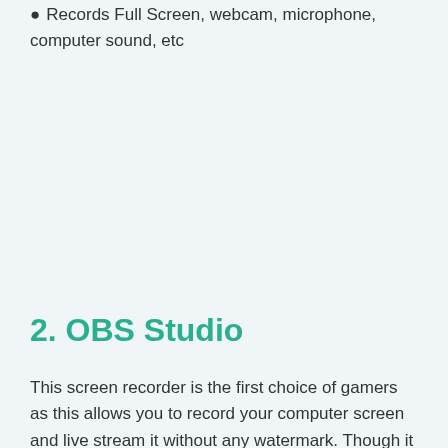Records Full Screen, webcam, microphone, computer sound, etc
2. OBS Studio
This screen recorder is the first choice of gamers as this allows you to record your computer screen and live stream it without any watermark. Though it doesn't have a